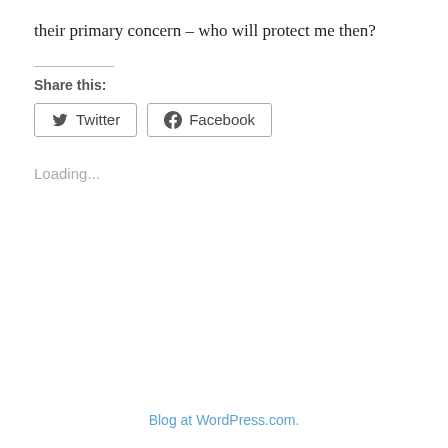their primary concern – who will protect me then?
Share this:
[Figure (other): Twitter and Facebook share buttons]
Loading...
Blog at WordPress.com.